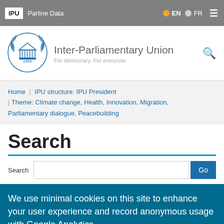IPU | Parline Data | EN | FR
[Figure (logo): Inter-Parliamentary Union logo with laurel wreath and building, year 1889]
Inter-Parliamentary Union
For democracy. For everyone.
Home | IPU structure: IPU President | Theme: Climate change, Health, Innovation, Migration, Parliamentary dialogue, Peacebuilding
Search
Search | Go
We use minimal cookies on this site to enhance your user experience and record anonymous usage with Google Analytics